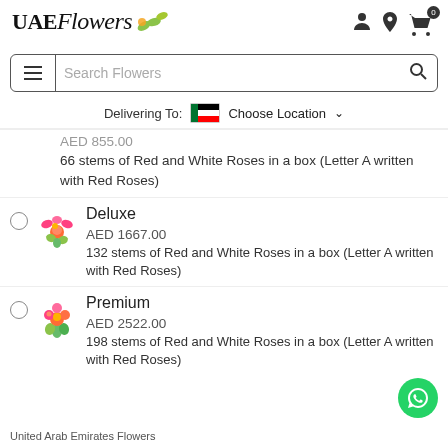UAE Flowers
Search Flowers
Delivering To: Choose Location
AED 855.00
66 stems of Red and White Roses in a box (Letter A written with Red Roses)
Deluxe
AED 1667.00
132 stems of Red and White Roses in a box (Letter A written with Red Roses)
Premium
AED 2522.00
198 stems of Red and White Roses in a box (Letter A written with Red Roses)
United Arab Emirates Flowers